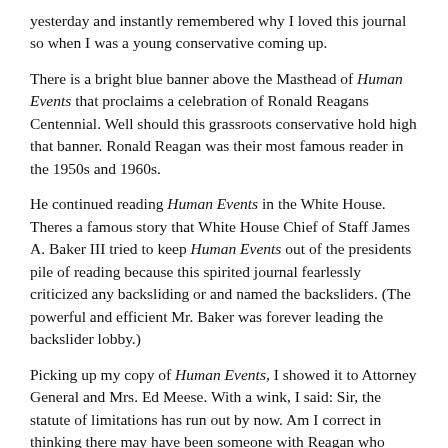yesterday and instantly remembered why I loved this journal so when I was a young conservative coming up.
There is a bright blue banner above the Masthead of Human Events that proclaims a celebration of Ronald Reagans Centennial. Well should this grassroots conservative hold high that banner. Ronald Reagan was their most famous reader in the 1950s and 1960s.
He continued reading Human Events in the White House. Theres a famous story that White House Chief of Staff James A. Baker III tried to keep Human Events out of the presidents pile of reading because this spirited journal fearlessly criticized any backsliding or and named the backsliders. (The powerful and efficient Mr. Baker was forever leading the backslider lobby.)
Picking up my copy of Human Events, I showed it to Attorney General and Mrs. Ed Meese. With a wink, I said: Sir, the statute of limitations has run out by now. Am I correct in thinking there may have been someone with Reagan who made sure the president got his weekly copy of Human Events? The ever-gracious Mr. Meese smiled as he signed a copy of his book, With Reagan.